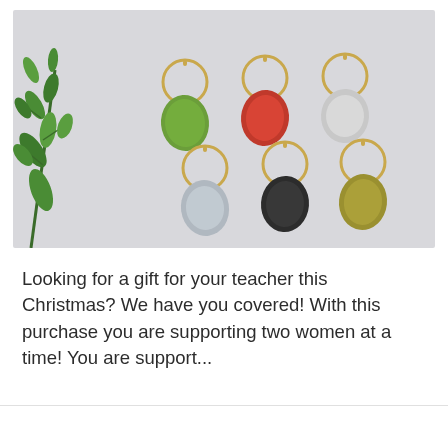[Figure (photo): Six decorative wine glass charms with gold-tone rings, each with a different colored leaf-shaped pendant: green, red, silver/white (top row), light gray, black, and gold/olive (bottom row). A sprig of greenery is visible in the top left corner. The background is light gray.]
Looking for a gift for your teacher this Christmas? We have you covered! With this purchase you are supporting two women at a time! You are support...